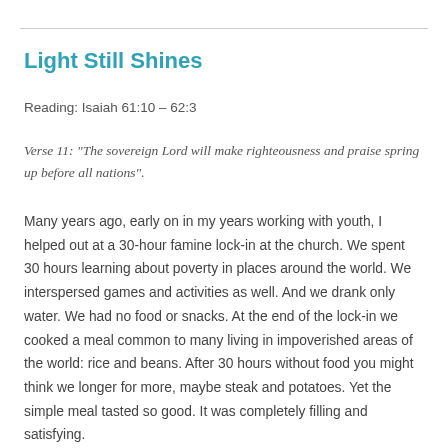Light Still Shines
Reading: Isaiah 61:10 – 62:3
Verse 11: “The sovereign Lord will make righteousness and praise spring up before all nations”.
Many years ago, early on in my years working with youth, I helped out at a 30-hour famine lock-in at the church. We spent 30 hours learning about poverty in places around the world. We interspersed games and activities as well. And we drank only water. We had no food or snacks. At the end of the lock-in we cooked a meal common to many living in impoverished areas of the world: rice and beans. After 30 hours without food you might think we longer for more, maybe steak and potatoes. Yet the simple meal tasted so good. It was completely filling and satisfying.